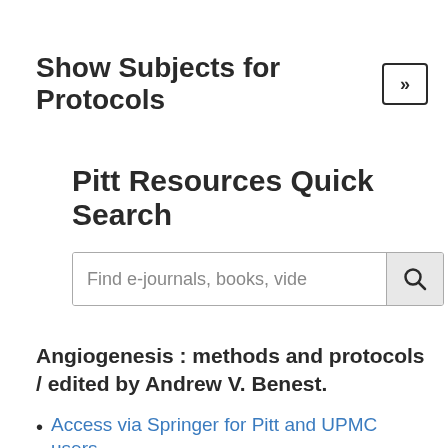Show Subjects for Protocols »
Pitt Resources Quick Search
[Figure (screenshot): Search input box with placeholder text 'Find e-journals, books, vide' and a search button with magnifying glass icon]
Angiogenesis : methods and protocols / edited by Andrew V. Benest.
Access via Springer for Pitt and UPMC users